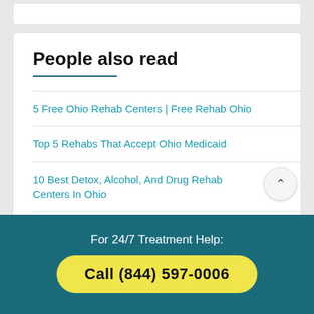People also read
5 Free Ohio Rehab Centers | Free Rehab Ohio
Top 5 Rehabs That Accept Ohio Medicaid
10 Best Detox, Alcohol, And Drug Rehab Centers In Ohio
For 24/7 Treatment Help:
Call (844) 597-0006